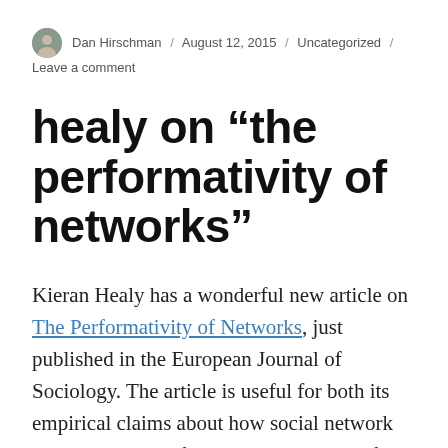Dan Hirschman / August 12, 2015 / Uncategorized / Leave a comment
healy on “the performativity of networks”
Kieran Healy has a wonderful new article on The Performativity of Networks, just published in the European Journal of Sociology. The article is useful for both its empirical claims about how social network analysis has transformed the world, and for its cogent summary of the performativity of economics as